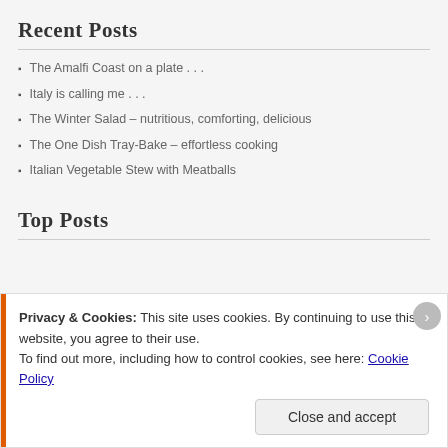Recent Posts
The Amalfi Coast on a plate . . .
Italy is calling me . . .
The Winter Salad – nutritious, comforting, delicious
The One Dish Tray-Bake – effortless cooking
Italian Vegetable Stew with Meatballs
Top Posts
Privacy & Cookies: This site uses cookies. By continuing to use this website, you agree to their use. To find out more, including how to control cookies, see here: Cookie Policy